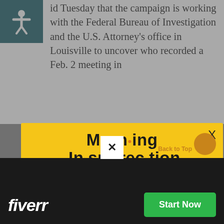id Tuesday that the campaign is working with the Federal Bureau of Investigation and the U.S. Attorney's office in Louisville to uncover who recorded a Feb. 2 meeting in
[Figure (infographic): Modal popup newsletter sign-up overlay for 'Morning Insurrection' with yellow background, bold stylized title, subscription text, and orange JOIN NOW button]
fiverr  Start Now
[Figure (screenshot): Bottom dark bar with Fiverr advertisement showing fiverr logo in white italic and green Start Now button]